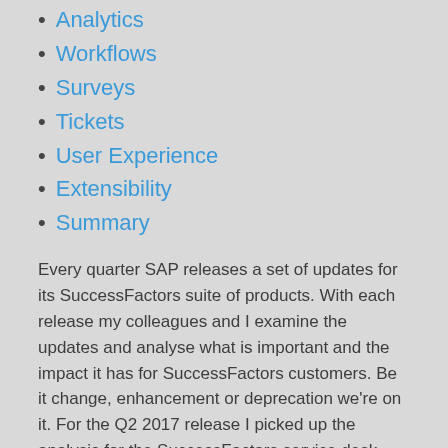Analytics
Workflows
Surveys
Tickets
User Experience
Extensibility
Summary
Every quarter SAP releases a set of updates for its SuccessFactors suite of products. With each release my colleagues and I examine the updates and analyse what is important and the impact it has for SuccessFactors customers. Be it change, enhancement or deprecation we're on it. For the Q2 2017 release I picked up the analysis for the SuccessFactors service desk solution - Employee Central Service Centre
What is Employee Central Service Centre?